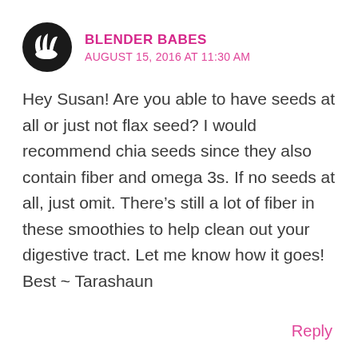[Figure (logo): Blender Babes logo: black circular icon with stylized hand/leaf design]
BLENDER BABES
AUGUST 15, 2016 AT 11:30 AM
Hey Susan! Are you able to have seeds at all or just not flax seed? I would recommend chia seeds since they also contain fiber and omega 3s. If no seeds at all, just omit. There’s still a lot of fiber in these smoothies to help clean out your digestive tract. Let me know how it goes! Best ~ Tarashaun
Reply